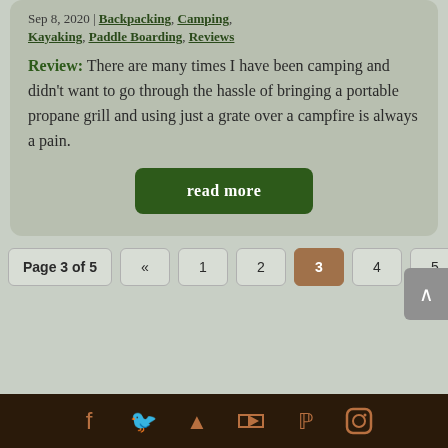Sep 8, 2020 | Backpacking, Camping, Kayaking, Paddle Boarding, Reviews
Review: There are many times I have been camping and didn't want to go through the hassle of bringing a portable propane grill and using just a grate over a campfire is always a pain.
read more
Page 3 of 5  «  1  2  3  4  5  »
[Figure (other): Footer bar with social media icons: Facebook, Twitter, another icon, YouTube, Pinterest, Instagram]